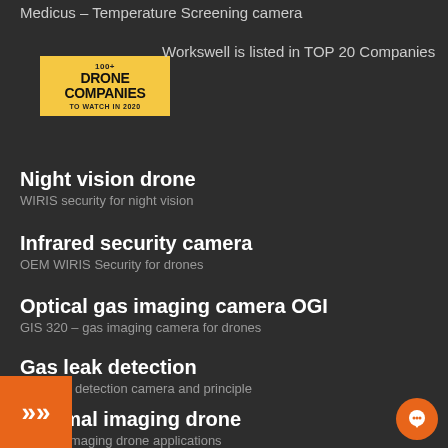Medicus – Temperature Screening camera
[Figure (logo): 100+ Drone Companies to Watch in 2020 yellow logo badge]
Workswell is listed in TOP 20 Companies
Night vision drone
WIRIS security for night vision
Infrared security camera
OEM WIRIS Security for drones
Optical gas imaging camera OGI
GIS 320 – gas imaging camera for drones
Gas leak detection
Gas leak detection camera and principle
Thermal imaging drone
thermal imaging drone applications